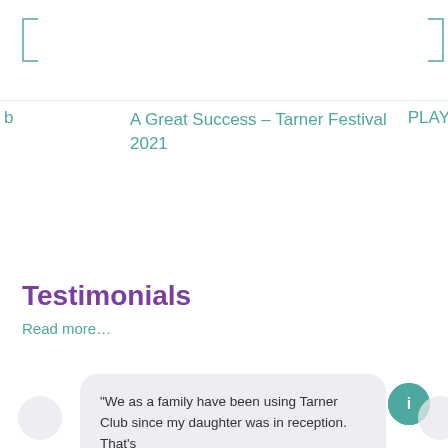A Great Success – Tarner Festival 2021
PLAY
Testimonials
Read more…
“We as a family have been using Tarner Club since my daughter was in reception.  That’s